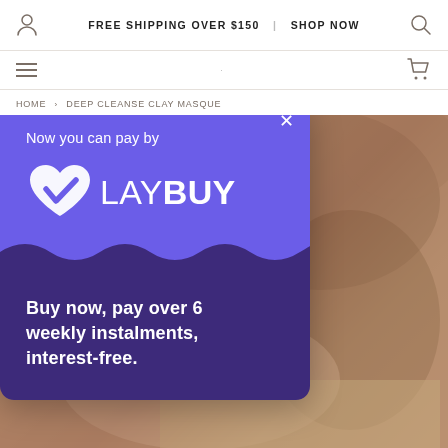FREE SHIPPING OVER $150 | SHOP NOW
HOME › DEEP CLEANSE CLAY MASQUE
[Figure (infographic): Laybuy payment modal popup on an e-commerce product page. Top section in purple (#6B5DE8) shows text 'Now you can pay by' with the Laybuy logo (heart checkmark icon + LAYBUY wordmark in white). Wave divider separates top from dark purple bottom section. Bottom section shows text: 'Buy now, pay over 6 weekly instalments, interest-free.' A close (×) button is in the top right of the modal. Behind the modal is a blurred product photo background.]